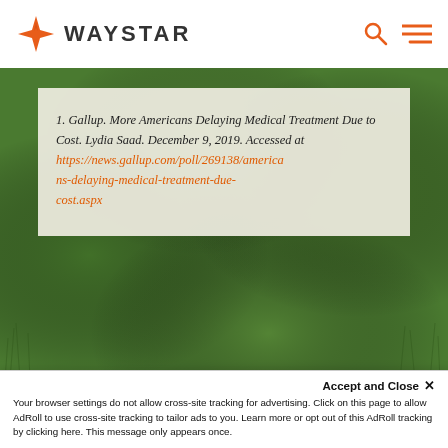[Figure (logo): Waystar logo with orange compass-star icon and WAYSTAR wordmark in dark grey]
[Figure (screenshot): Orange search icon and orange hamburger menu icon in the top-right navigation]
[Figure (photo): Green grass background image behind the white reference card]
1. Gallup. More Americans Delaying Medical Treatment Due to Cost. Lydia Saad. December 9, 2019. Accessed at https://news.gallup.com/poll/269138/americans-delaying-medical-treatment-due-cost.aspx
THE WAYSTAR DIFFERENCE
Accept and Close ×
Your browser settings do not allow cross-site tracking for advertising. Click on this page to allow AdRoll to use cross-site tracking to tailor ads to you. Learn more or opt out of this AdRoll tracking by clicking here. This message only appears once.